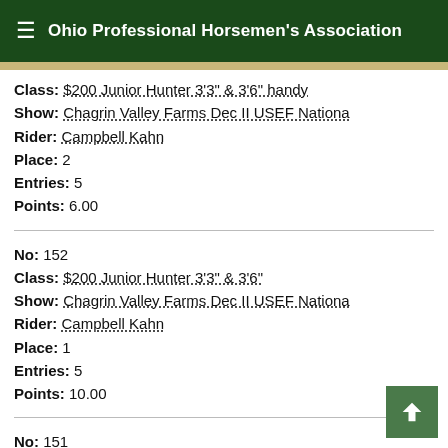Ohio Professional Horsemen's Association
Class: $200 Junior Hunter 3'3" & 3'6" handy
Show: Chagrin Valley Farms Dec II USEF Nationa
Rider: Campbell Kahn
Place: 2
Entries: 5
Points: 6.00
No: 152
Class: $200 Junior Hunter 3'3" & 3'6"
Show: Chagrin Valley Farms Dec II USEF Nationa
Rider: Campbell Kahn
Place: 1
Entries: 5
Points: 10.00
No: 151
Class: $200 Junior Hunter 3'3" & 3'6"
Show: Chagrin Valley Farms Dec II USEF Nationa
Rider: Campbell Kahn
Place: 1
Entries: 5